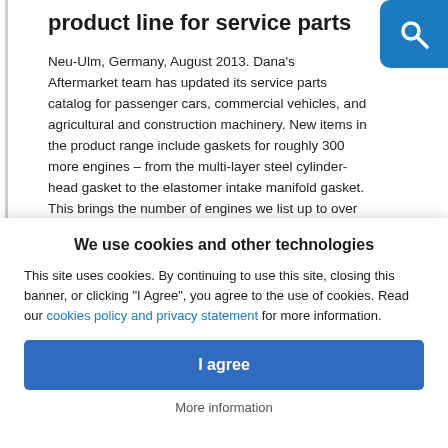product line for service parts
Neu-Ulm, Germany, August 2013. Dana's Aftermarket team has updated its service parts catalog for passenger cars, commercial vehicles, and agricultural and construction machinery. New items in the product range include gaskets for roughly 300 more engines – from the multi-layer steel cylinder-head gasket to the elastomer intake manifold gasket. This brings the number of engines we list up to over
We use cookies and other technologies
This site uses cookies. By continuing to use this site, closing this banner, or clicking "I Agree", you agree to the use of cookies. Read our cookies policy and privacy statement for more information.
I agree
More information